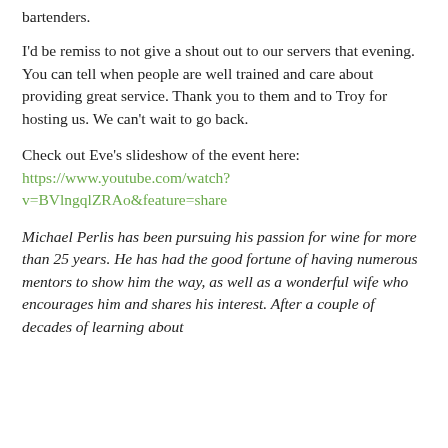bartenders.
I'd be remiss to not give a shout out to our servers that evening. You can tell when people are well trained and care about providing great service. Thank you to them and to Troy for hosting us. We can't wait to go back.
Check out Eve's slideshow of the event here: https://www.youtube.com/watch?v=BVlngqlZRAo&feature=share
Michael Perlis has been pursuing his passion for wine for more than 25 years. He has had the good fortune of having numerous mentors to show him the way, as well as a wonderful wife who encourages him and shares his interest. After a couple of decades of learning about